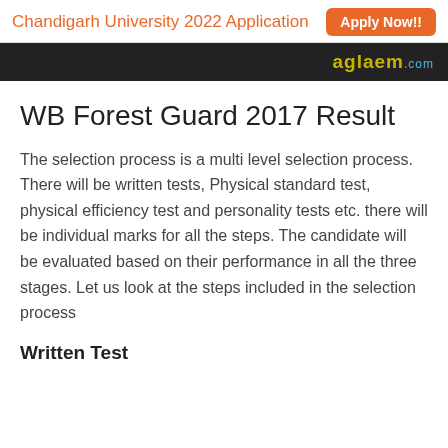Chandigarh University 2022 Application  Apply Now!!
[Figure (logo): aglaem.com logo on dark banner]
WB Forest Guard 2017 Result
The selection process is a multi level selection process. There will be written tests, Physical standard test, physical efficiency test and personality tests etc. there will be individual marks for all the steps. The candidate will be evaluated based on their performance in all the three stages. Let us look at the steps included in the selection process
Written Test